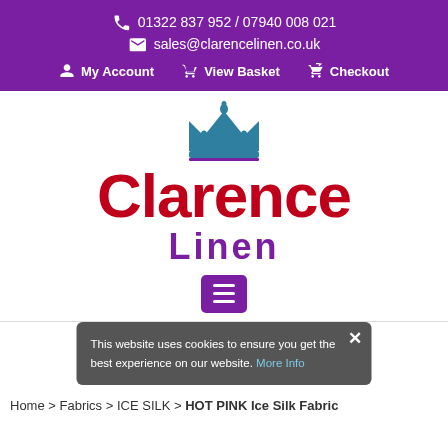01322 837 952 / 07940 008 021 | sales@clarencelinen.co.uk | My Account | View Basket | Checkout
[Figure (logo): Clarence Linen logo with teal crown above red 'Clarence' text and purple 'Linen' text]
This website uses cookies to ensure you get the best experience on our website. More Info
Home > Fabrics > ICE SILK > HOT PINK Ice Silk Fabric